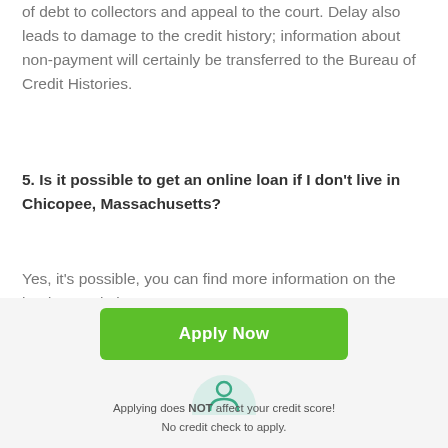of debt to collectors and appeal to the court. Delay also leads to damage to the credit history; information about non-payment will certainly be transferred to the Bureau of Credit Histories.
5. Is it possible to get an online loan if I don't live in Chicopee, Massachusetts?
Yes, it's possible, you can find more information on the lender's website.
Common Uses For a Loan
[Figure (illustration): Rounded icon with teal outline person/profile symbol on light green background, partially visible at bottom of content area]
[Figure (other): Dark grey rounded square button with white upward arrow icon (scroll to top button)]
Apply Now
Applying does NOT affect your credit score!
No credit check to apply.